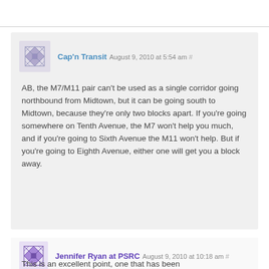Cap'n Transit August 9, 2010 at 5:54 am #
AB, the M7/M11 pair can't be used as a single corridor going northbound from Midtown, but it can be going south to Midtown, because they're only two blocks apart. If you're going somewhere on Tenth Avenue, the M7 won't help you much, and if you're going to Sixth Avenue the M11 won't help. But if you're going to Eighth Avenue, either one will get you a block away.
Jennifer Ryan at PSRC August 9, 2010 at 10:18 am #
This is an excellent point, one that has been